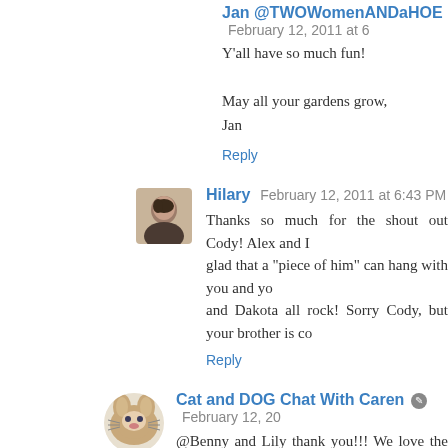Jan @TWOWomenANDaHOE  February 12, 2011 at 6...
Y'all have so much fun!

May all your gardens grow,
Jan
Reply
Hilary  February 12, 2011 at 6:43 PM
Thanks so much for the shout out Cody! Alex and I are so glad that a "piece of him" can hang with you and yo... and Dakota all rock! Sorry Cody, but your brother is co...
Reply
Cat and DOG Chat With Caren  February 12, 20...
@Benny and Lily thank you!!! We love the bumper stic... How is the new Honda?

@Jan lol!!!!! Yeah, we pet-people are NUTS! lol Yes!! ou...